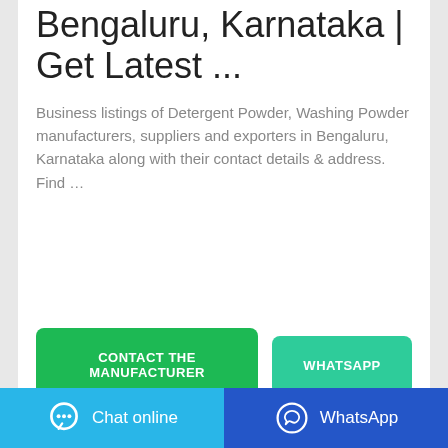Bengaluru, Karnataka | Get Latest ...
Business listings of Detergent Powder, Washing Powder manufacturers, suppliers and exporters in Bengaluru, Karnataka along with their contact details & address. Find …
[Figure (other): Green button labeled CONTACT THE MANUFACTURER and a lighter green button labeled WHATSAPP]
[Figure (other): Bottom navigation bar with Chat online (light blue) and WhatsApp (dark blue) buttons]
[Figure (photo): Partial image strip visible at the bottom of the page]